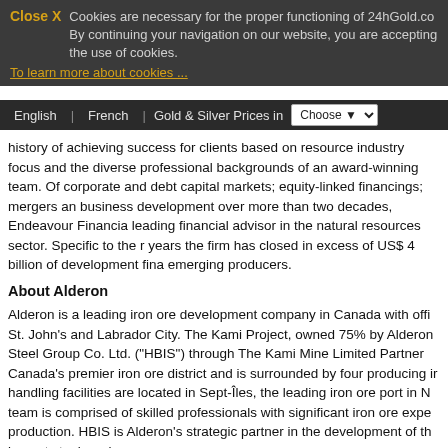Close X  Cookies are necessary for the proper functioning of 24hGold.com. By continuing your navigation on our website, you are accepting the use of cookies.
To learn more about cookies ...
English | French | Gold & Silver Prices in | Choose
history of achieving success for clients based on resource industry focus and the diverse professional backgrounds of an award-winning team. Of corporate and debt capital markets; equity-linked financings; mergers an business development over more than two decades, Endeavour Financia leading financial advisor in the natural resources sector. Specific to the r years the firm has closed in excess of US$ 4 billion of development fina emerging producers.
About Alderon
Alderon is a leading iron ore development company in Canada with offi St. John's and Labrador City. The Kami Project, owned 75% by Alderon Steel Group Co. Ltd. ("HBIS") through The Kami Mine Limited Partner Canada's premier iron ore district and is surrounded by four producing ir handling facilities are located in Sept-Îles, the leading iron ore port in N team is comprised of skilled professionals with significant iron ore expe production. HBIS is Alderon's strategic partner in the development of th largest steel producer.
ALDERON IRON ORE CORP.